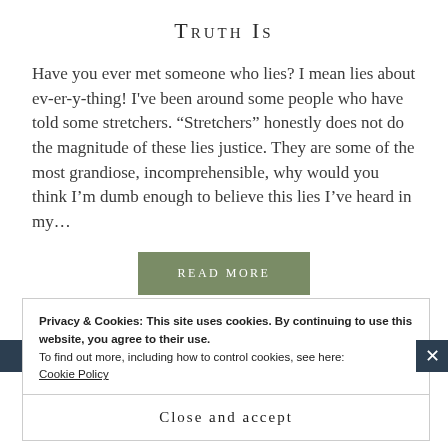Truth Is
Have you ever met someone who lies? I mean lies about ev-er-y-thing! I've been around some people who have told some stretchers. “Stretchers” honestly does not do the magnitude of these lies justice. They are some of the most grandiose, incomprehensible, why would you think I’m dumb enough to believe this lies I’ve heard in my…
READ MORE
Privacy & Cookies: This site uses cookies. By continuing to use this website, you agree to their use.
To find out more, including how to control cookies, see here: Cookie Policy
Close and accept